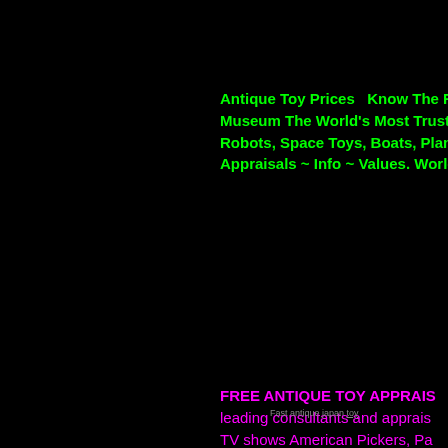Antique Toy Prices  Know The Facts Museum The World's Most Trusted M Robots, Space Toys, Boats, Planes Appraisals ~ Info ~ Values. World's M
FREE ANTIQUE TOY APPRAIS leading consultants and apprais TV shows American Pickers, Pa more Free Online Toy Appraisal
Fast antique japan toy